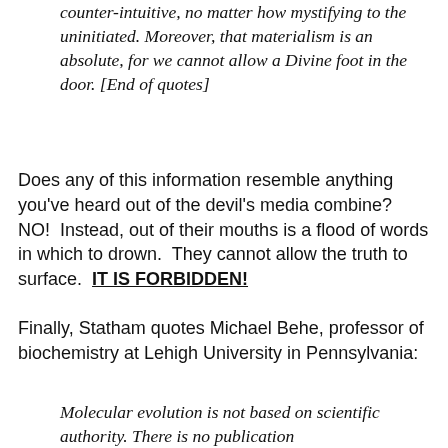counter-intuitive, no matter how mystifying to the uninitiated. Moreover, that materialism is an absolute, for we cannot allow a Divine foot in the door. [End of quotes]
Does any of this information resemble anything you've heard out of the devil's media combine? NO!  Instead, out of their mouths is a flood of words in which to drown.  They cannot allow the truth to surface.  IT IS FORBIDDEN!
Finally, Statham quotes Michael Behe, professor of biochemistry at Lehigh University in Pennsylvania:
Molecular evolution is not based on scientific authority. There is no publication